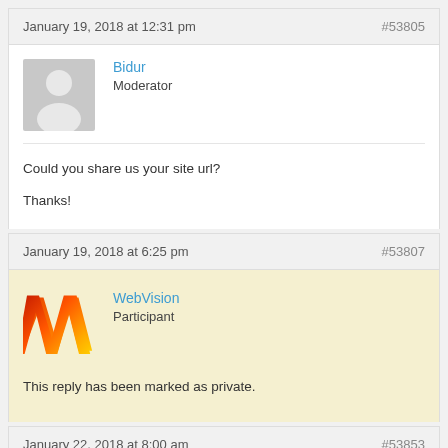January 19, 2018 at 12:31 pm   #53805
[Figure (illustration): Generic user avatar: grey silhouette of a person on grey background]
Bidur
Moderator
Could you share us your site url?

Thanks!
January 19, 2018 at 6:25 pm   #53807
[Figure (logo): WebVision logo: orange/red W shape]
WebVision
Participant
This reply has been marked as private.
January 22, 2018 at 8:00 am   #53853